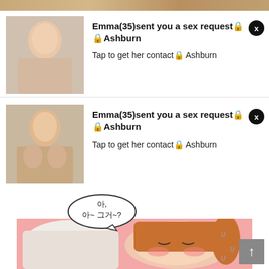[Figure (photo): Top banner with blurred adult image]
[Figure (photo): Adult advertisement card 1 with thumbnail photo of woman]
Emma(35)sent you a sex request🔒Ashburn
Tap to get her contact🔒 Ashburn
[Figure (photo): Adult advertisement card 2 with thumbnail photo of woman]
Emma(35)sent you a sex request🔒Ashburn
Tap to get her contact🔒 Ashburn
[Figure (illustration): Korean manga/webtoon panel showing anime-style characters with speech bubble containing Korean text: 아, 아~ 그거~?]